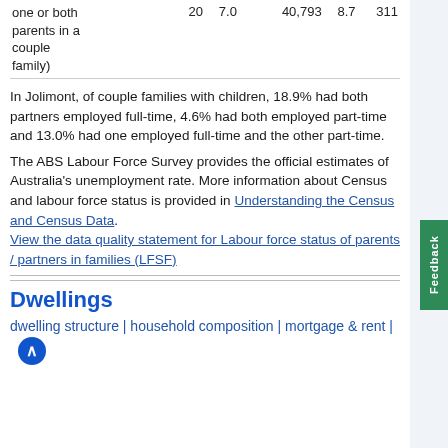| one or both
parents in a
couple
family) | 20 | 7.0 | 40,793 | 8.7 | 311 |
In Jolimont, of couple families with children, 18.9% had both partners employed full-time, 4.6% had both employed part-time and 13.0% had one employed full-time and the other part-time.
The ABS Labour Force Survey provides the official estimates of Australia's unemployment rate. More information about Census and labour force status is provided in Understanding the Census and Census Data. View the data quality statement for Labour force status of parents / partners in families (LFSF)
Dwellings
dwelling structure | household composition | mortgage & rent |